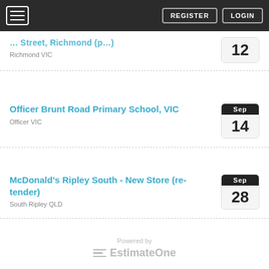REGISTER LOGIN
Richmond VIC
Officer Brunt Road Primary School, VIC
Officer VIC
McDonald's Ripley South - New Store (re-tender)
South Ripley QLD
Powered by EstimateOne